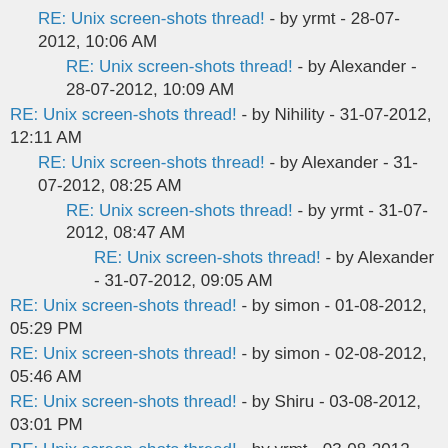RE: Unix screen-shots thread! - by yrmt - 28-07-2012, 10:06 AM
RE: Unix screen-shots thread! - by Alexander - 28-07-2012, 10:09 AM
RE: Unix screen-shots thread! - by Nihility - 31-07-2012, 12:11 AM
RE: Unix screen-shots thread! - by Alexander - 31-07-2012, 08:25 AM
RE: Unix screen-shots thread! - by yrmt - 31-07-2012, 08:47 AM
RE: Unix screen-shots thread! - by Alexander - 31-07-2012, 09:05 AM
RE: Unix screen-shots thread! - by simon - 01-08-2012, 05:29 PM
RE: Unix screen-shots thread! - by simon - 02-08-2012, 05:46 AM
RE: Unix screen-shots thread! - by Shiru - 03-08-2012, 03:01 PM
RE: Unix screen-shots thread! - by yrmt - 03-08-2012, 04:27 PM
RE: Unix screen-shots thread! - by yrmt - 04-08-2012, 02:04